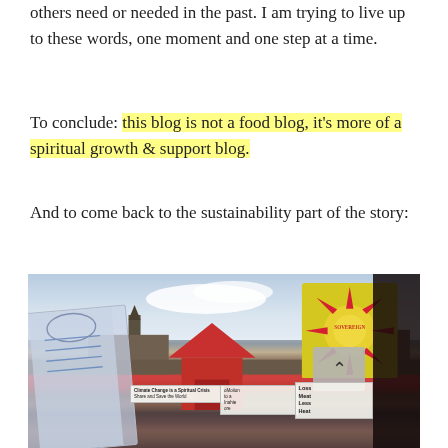others need or needed in the past. I am trying to live up to these words, one moment and one step at a time.
To conclude: this blog is not a food blog, it's more of a spiritual growth & support blog.
And to come back to the sustainability part of the story:
[Figure (photo): Outdoor protest/activist gathering with signs including 'Climate Change is a Spiritual Crisis Share and Save the World', 'oMoiion to a Inahie ore', 'Less Meat Less Heat', a red tent, blue banner, and yellow sunburst sign, with buildings and cloudy sky in background.]